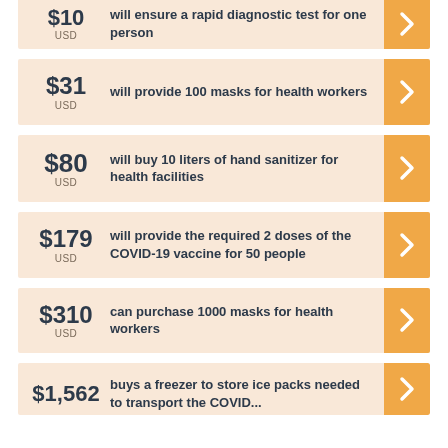$10 USD will ensure a rapid diagnostic test for one person
$31 USD will provide 100 masks for health workers
$80 USD will buy 10 liters of hand sanitizer for health facilities
$179 USD will provide the required 2 doses of the COVID-19 vaccine for 50 people
$310 USD can purchase 1000 masks for health workers
$1,562 USD buys a freezer to store ice packs needed to transport the COVID...